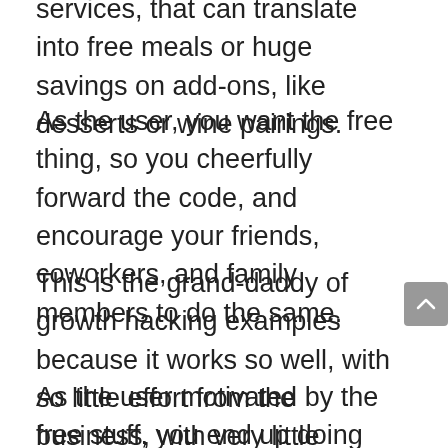services, that can translate into free meals or huge savings on add-ons, like desserts or wine pairings.
As the user, you want the free thing, so you cheerfully forward the code, and encourage your friends, coworkers, and family members to do the same.
This is the grand-daddy of growth hacking examples because it works so well, with so little effort from the business, with very little investment on anyone's behalf.
As the user motivated by the free stuff, you end up doing the hard part, convincing others of the company's end product's value in order to get your